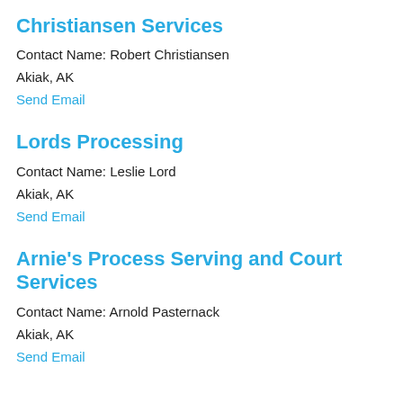Christiansen Services
Contact Name: Robert Christiansen
Akiak, AK
Send Email
Lords Processing
Contact Name: Leslie Lord
Akiak, AK
Send Email
Arnie's Process Serving and Court Services
Contact Name: Arnold Pasternack
Akiak, AK
Send Email